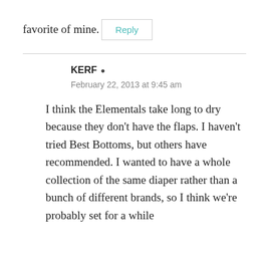favorite of mine.
Reply
KERF
February 22, 2013 at 9:45 am
I think the Elementals take long to dry because they don't have the flaps. I haven't tried Best Bottoms, but others have recommended. I wanted to have a whole collection of the same diaper rather than a bunch of different brands, so I think we're probably set for a while